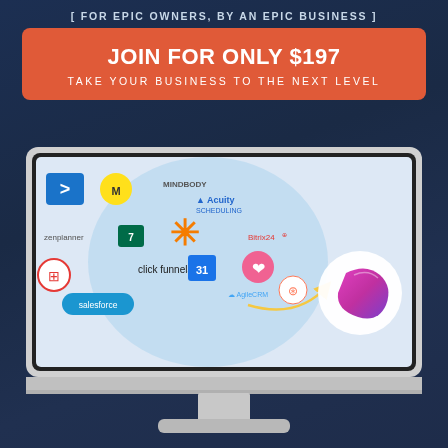[ FOR EPIC OWNERS, BY AN EPIC BUSINESS ]
JOIN FOR ONLY $197
TAKE YOUR BUSINESS TO THE NEXT LEVEL
[Figure (illustration): iMac desktop computer screen showing software integration logos (MINDBODY, Acuity Scheduling, Bitrix24, click funnels, AgileCRM, HubSpot, salesforce, Zenplanner, and others) with an arrow pointing to a chat/leaf app icon, on a light blue background.]